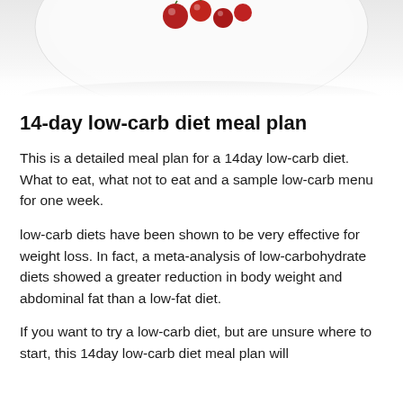[Figure (photo): Top portion of a white plate with food (appears to be a low-carb meal with red berries or tomatoes), partially cropped at the top of the page.]
14-day low-carb diet meal plan
This is a detailed meal plan for a 14day low-carb diet. What to eat, what not to eat and a sample low-carb menu for one week.
low-carb diets have been shown to be very effective for weight loss. In fact, a meta-analysis of low-carbohydrate diets showed a greater reduction in body weight and abdominal fat than a low-fat diet.
If you want to try a low-carb diet, but are unsure where to start, this 14day low-carb diet meal plan will